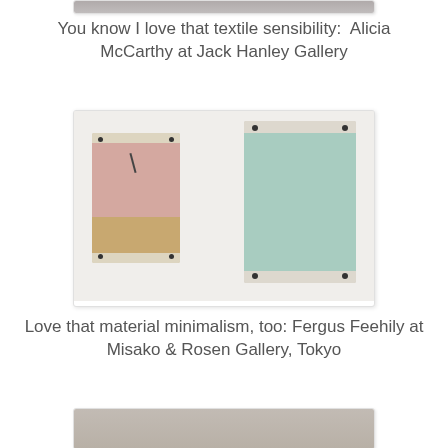[Figure (photo): Top portion of a gallery artwork photo, cropped at top of page]
You know I love that textile sensibility:  Alicia McCarthy at Jack Hanley Gallery
[Figure (photo): Two minimalist artworks mounted on a white gallery wall. Left: a smaller pink and tan canvas in a light wood frame with screws visible. Right: a larger mint/seafoam green canvas with a dark stripe at top in a light wood frame with screws visible.]
Love that material minimalism, too: Fergus Feehily at Misako & Rosen Gallery, Tokyo
[Figure (photo): Bottom portion of another gallery artwork photo, partially visible at bottom of page]